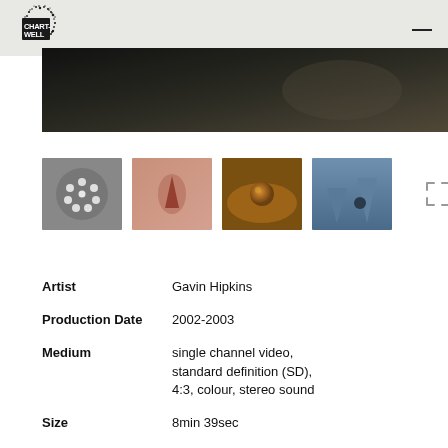CHART-WELL
[Figure (photo): Dark moody hero banner image showing a dark background with soft warm tones]
[Figure (photo): Row of four video thumbnails: 1) white spheres on grey background, 2) pink/peach cone shape, 3) metallic sphere in warm orange light, 4) blue cone shapes. Plus fullscreen icon.]
| Artist | Gavin Hipkins |
| Production Date | 2002-2003 |
| Medium | single channel video, standard definition (SD), 4:3, colour, stereo sound |
| Size | 8min 39sec |